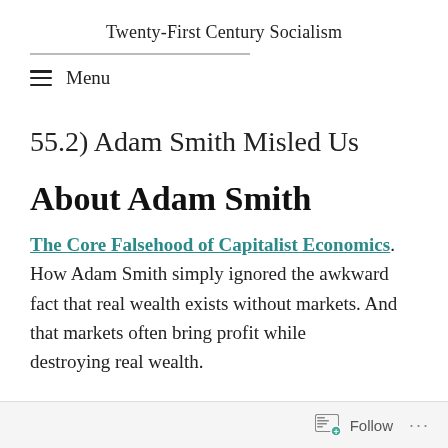Twenty-First Century Socialism
Menu
55.2) Adam Smith Misled Us
About Adam Smith
The Core Falsehood of Capitalist Economics. How Adam Smith simply ignored the awkward fact that real wealth exists without markets. And that markets often bring profit while destroying real wealth.
Follow ...